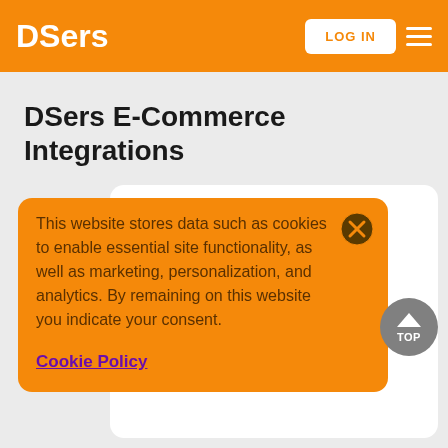DSers
DSers E-Commerce Integrations
This website stores data such as cookies to enable essential site functionality, as well as marketing, personalization, and analytics. By remaining on this website you indicate your consent.
Cookie Policy